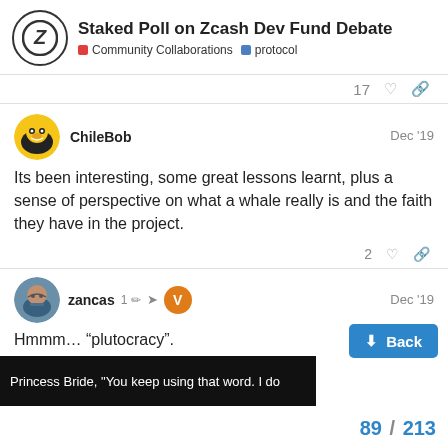Staked Poll on Zcash Dev Fund Debate | Community Collaborations | protocol
17
ChileBob Dec '19
Its been interesting, some great lessons learnt, plus a sense of perspective on what a whale really is and the faith they have in the project.
2
zancas 1 V Dec '19
Hmmm… “plutocracy”.
Princess Bride, "You keep using that word. I do
89 / 213